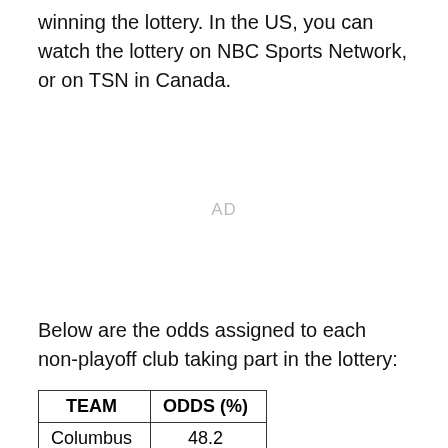winning the lottery. In the US, you can watch the lottery on NBC Sports Network, or on TSN in Canada.
[Figure (other): Advertisement placeholder labeled AD]
Below are the odds assigned to each non-playoff club taking part in the lottery:
| TEAM | ODDS (%) |
| --- | --- |
| Columbus | 48.2 |